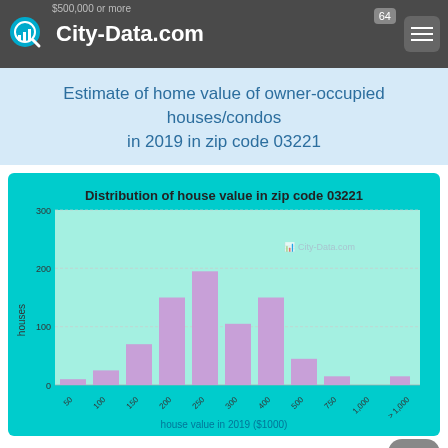City-Data.com
Estimate of home value of owner-occupied houses/condos in 2019 in zip code 03221
[Figure (histogram): Distribution of house value in zip code 03221]
$15,000 to $19,999
$25,000 to $29,999